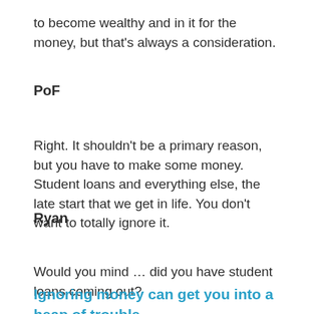to become wealthy and in it for the money, but that's always a consideration.
PoF
Right. It shouldn't be a primary reason, but you have to make some money. Student loans and everything else, the late start that we get in life. You don't want to totally ignore it.
Ryan
Would you mind … did you have student loans coming out?
Ignoring money can get you into a heap of trouble.